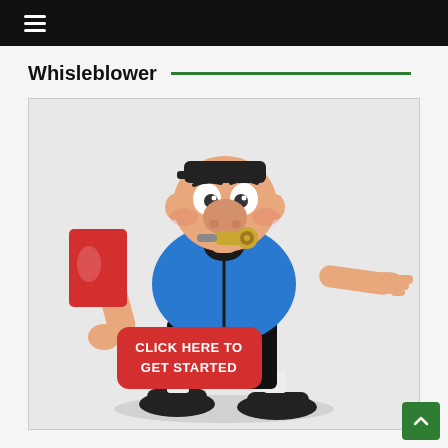≡
Whisleblower
[Figure (illustration): Cartoon referee/whistleblower figure blowing a whistle, holding a red card in one hand and pointing with the other, wearing a blue shirt and black shorts. A red button overlay reads 'CLICK HERE TO GET STARTED'.]